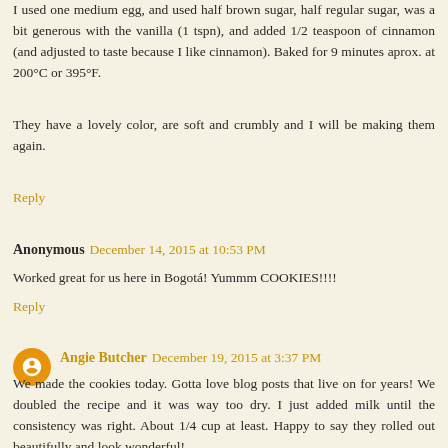I used one medium egg, and used half brown sugar, half regular sugar, was a bit generous with the vanilla (1 tspn), and added 1/2 teaspoon of cinnamon (and adjusted to taste because I like cinnamon). Baked for 9 minutes aprox. at 200°C or 395°F.
They have a lovely color, are soft and crumbly and I will be making them again.
Reply
Anonymous December 14, 2015 at 10:53 PM
Worked great for us here in Bogotá! Yummm COOKIES!!!!
Reply
Angie Butcher December 19, 2015 at 3:37 PM
We made the cookies today. Gotta love blog posts that live on for years! We doubled the recipe and it was way too dry. I just added milk until the consistency was right. About 1/4 cup at least. Happy to say they rolled out beautifully and look wonderful!
We are in Northern Colorado. I don't adjust much here but I